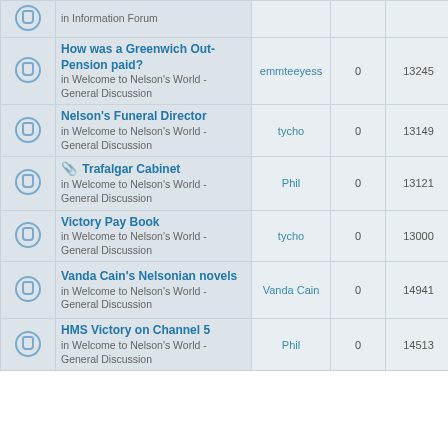|  | Topic | Author | Replies | Views | Last post |
| --- | --- | --- | --- | --- | --- |
|  | How was a Greenwich Out-Pension paid? in Welcome to Nelson's World - General Discussion | emmteeyess | 0 | 13245 | Wed Jun 19, 2019 9:15 am emmteeyess |
|  | Nelson's Funeral Director in Welcome to Nelson's World - General Discussion | tycho | 0 | 13149 | Sat Apr 20, 2019 2:27 pm tycho |
|  | Trafalgar Cabinet in Welcome to Nelson's World - General Discussion | Phil | 0 | 13121 | Sun Feb 10, 2019 1:12 pm Phil |
|  | Victory Pay Book in Welcome to Nelson's World - General Discussion | tycho | 0 | 13000 | Mon Dec 17, 2018 8:56 pm tycho |
|  | Vanda Cain's Nelsonian novels in Welcome to Nelson's World - General Discussion | Vanda Cain | 0 | 14941 | Fri Oct 05, 2018 2:52 pm Vanda Cain |
|  | HMS Victory on Channel 5 in Welcome to Nelson's World - General Discussion | Phil | 0 | 14513 | Thu Sep 13, 2018 1:54 pm Phil |